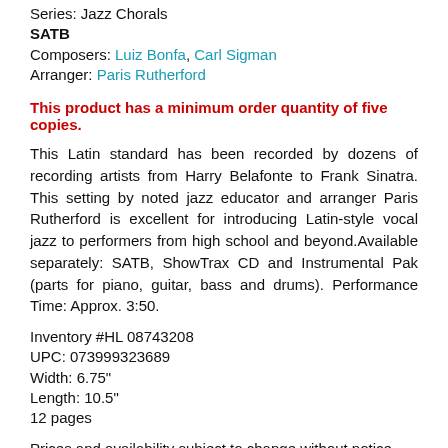Series: Jazz Chorals
SATB
Composers: Luiz Bonfa, Carl Sigman
Arranger: Paris Rutherford
This product has a minimum order quantity of five copies.
This Latin standard has been recorded by dozens of recording artists from Harry Belafonte to Frank Sinatra. This setting by noted jazz educator and arranger Paris Rutherford is excellent for introducing Latin-style vocal jazz to performers from high school and beyond.Available separately: SATB, ShowTrax CD and Instrumental Pak (parts for piano, guitar, bass and drums). Performance Time: Approx. 3:50.
Inventory #HL 08743208
UPC: 073999323689
Width: 6.75"
Length: 10.5"
12 pages
Prices and availability subject to change without notice.